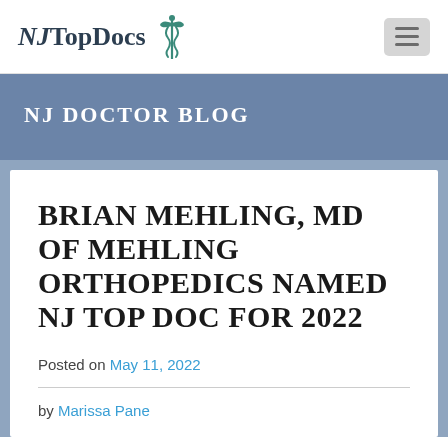NJ Top Docs
NJ Doctor Blog
BRIAN MEHLING, MD OF MEHLING ORTHOPEDICS NAMED NJ TOP DOC FOR 2022
Posted on May 11, 2022
by Marissa Pane